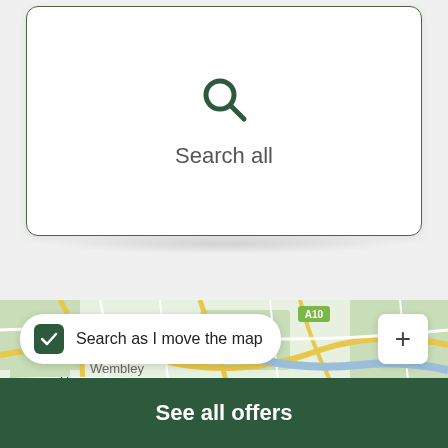[Figure (screenshot): White card with search icon and 'Search all' text, with dark green border on light grey background]
Search all
[Figure (map): Google Maps style map of London area showing roads and green spaces around Harrow and Wembley, with 'Search as I move the map' checkbox and plus zoom button]
Search as I move the map
Harrow
See all offers